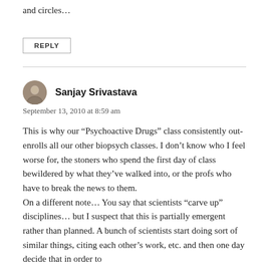and circles…
REPLY
Sanjay Srivastava
September 13, 2010 at 8:59 am
This is why our “Psychoactive Drugs” class consistently out-enrolls all our other biopsych classes. I don’t know who I feel worse for, the stoners who spend the first day of class bewildered by what they’ve walked into, or the profs who have to break the news to them.
On a different note… You say that scientists “carve up” disciplines… but I suspect that this is partially emergent rather than planned. A bunch of scientists start doing sort of similar things, citing each other’s work, etc. and then one day decide that in order to